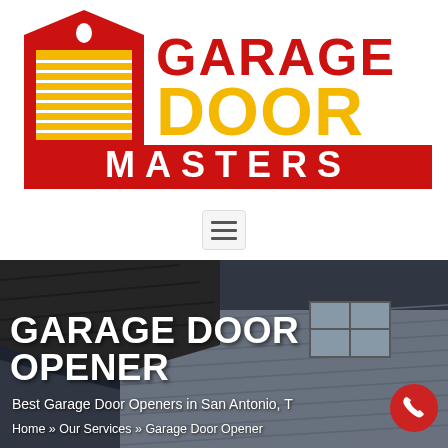[Figure (logo): Garage Door Masters logo with red garage door icon on left and GARAGE DOOR MASTERS text in red and yellow]
[Figure (other): Hamburger menu icon button with three horizontal lines on light gray rounded rectangle background]
[Figure (photo): Photo of a house exterior showing siding and roofline, used as hero banner background]
GARAGE DOOR OPENER
Best Garage Door Openers in San Antonio, T[X]
Home » Our Services » Garage Door Opener